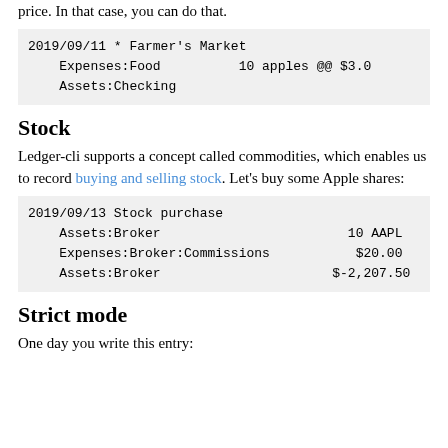price. In that case, you can do that.
2019/09/11 * Farmer's Market
    Expenses:Food          10 apples @@ $3.0
    Assets:Checking
Stock
Ledger-cli supports a concept called commodities, which enables us to record buying and selling stock. Let's buy some Apple shares:
2019/09/13 Stock purchase
    Assets:Broker                        10 AAPL
    Expenses:Broker:Commissions           $20.00
    Assets:Broker                      $-2,207.50
Strict mode
One day you write this entry: